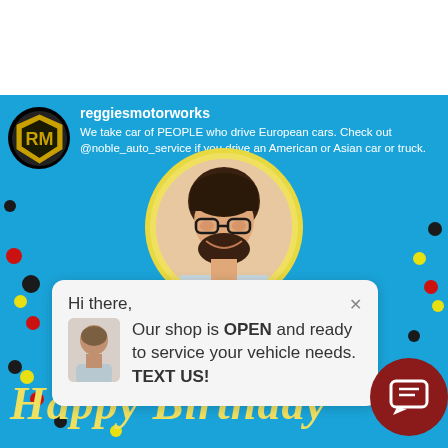[Figure (screenshot): Instagram profile header for reggiesmotorworks on a blue background with profile logo, username and bio text]
reggiesmotorworks
We take car of PEOPLE who drive European cars. Check out @noble_auto_service if you drive an American or Asian car or truck.
[Figure (photo): Circular profile photo of a man with dark hair and glasses smiling, with yellow border]
[Figure (screenshot): Chat popup overlay saying: Hi there, Our shop is OPEN and ready to service your vehicle needs. TEXT US!]
Hi there,
Our shop is OPEN and ready to service your vehicle needs. TEXT US!
BRANDON HANDS
Happy Birthday